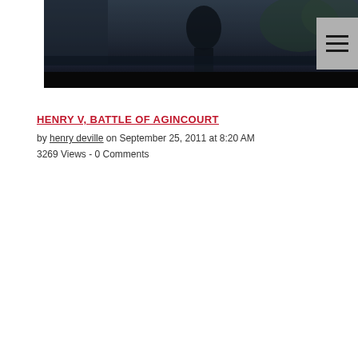[Figure (photo): Dark atmospheric image showing a figure silhouetted against a dark blue-gray background, appears to be a movie or historical scene related to Henry V and the Battle of Agincourt]
HENRY V, BATTLE OF AGINCOURT
by henry deville on September 25, 2011 at 8:20 AM
3269 Views - 0 Comments